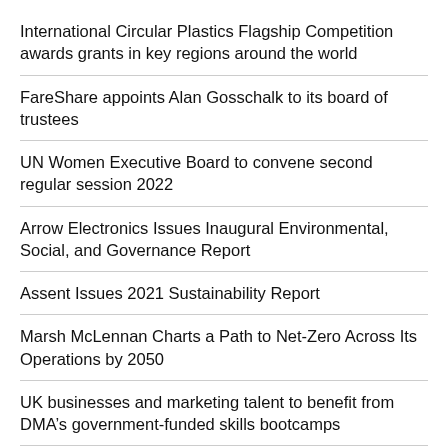International Circular Plastics Flagship Competition awards grants in key regions around the world
FareShare appoints Alan Gosschalk to its board of trustees
UN Women Executive Board to convene second regular session 2022
Arrow Electronics Issues Inaugural Environmental, Social, and Governance Report
Assent Issues 2021 Sustainability Report
Marsh McLennan Charts a Path to Net-Zero Across Its Operations by 2050
UK businesses and marketing talent to benefit from DMA's government-funded skills bootcamps
Marketing facing “worst-ever” talent crisis